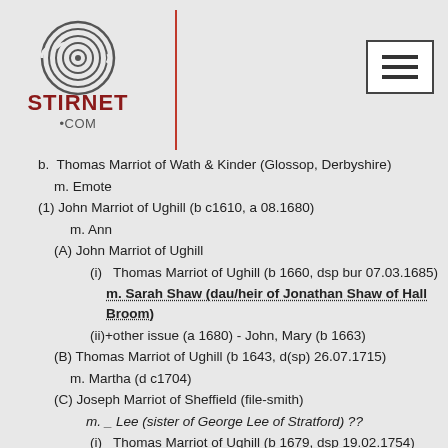Stirnet.com
b. Thomas Marriot of Wath & Kinder (Glossop, Derbyshire)
m. Emote
(1) John Marriot of Ughill (b c1610, a 08.1680)
m. Ann
(A) John Marriot of Ughill
(i) Thomas Marriot of Ughill (b 1660, dsp bur 07.03.1685)
m. Sarah Shaw (dau/heir of Jonathan Shaw of Hall Broom)
(ii)+other issue (a 1680) - John, Mary (b 1663)
(B) Thomas Marriot of Ughill (b 1643, d(sp) 26.07.1715)
m. Martha (d c1704)
(C) Joseph Marriot of Sheffield (file-smith)
m. _ Lee (sister of George Lee of Stratford) ??
(i) Thomas Marriot of Ughill (b 1679, dsp 19.02.1754)